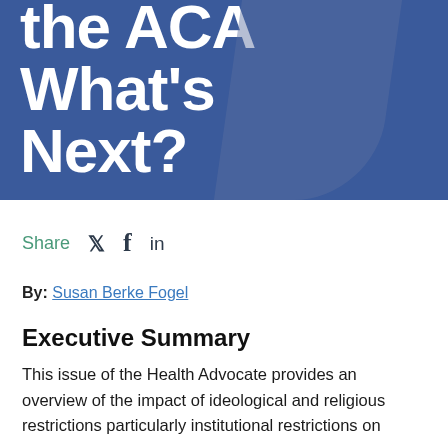the ACA What's Next?
Share
By: Susan Berke Fogel
Executive Summary
This issue of the Health Advocate provides an overview of the impact of ideological and religious restrictions particularly institutional restrictions on